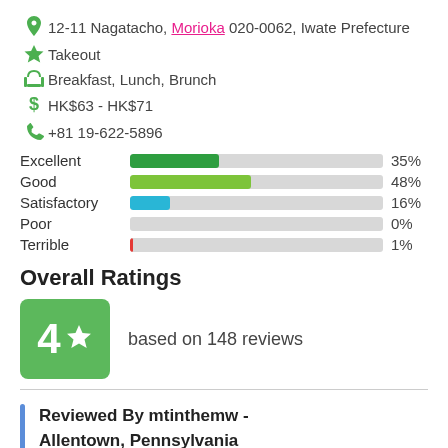12-11 Nagatacho, Morioka 020-0062, Iwate Prefecture
Takeout
Breakfast, Lunch, Brunch
HK$63 - HK$71
+81 19-622-5896
[Figure (bar-chart): Rating distribution]
Overall Ratings
4 ★ based on 148 reviews
Reviewed By mtinthemw - Allentown, Pennsylvania